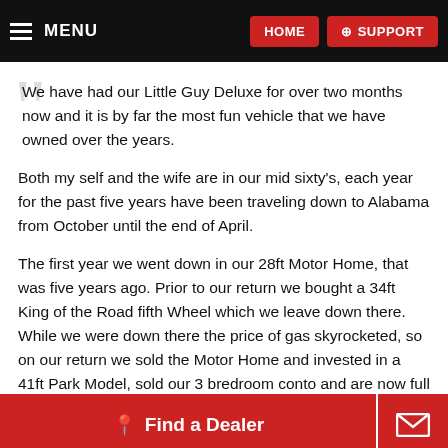MENU  HOME  SUPPORT
We have had our Little Guy Deluxe for over two months now and it is by far the most fun vehicle that we have owned over the years.
Both my self and the wife are in our mid sixty's, each year for the past five years have been traveling down to Alabama from October until the end of April.
The first year we went down in our 28ft Motor Home, that was five years ago. Prior to our return we bought a 34ft King of the Road fifth Wheel which we leave down there. While we were down there the price of gas skyrocketed, so on our return we sold the Motor Home and invested in a 41ft Park Model, sold our 3 bredroom conto and are now full timing it.
For four years we drove back and forth staying in Motels and Hotels and as we have a 7LB Cock-a pooh, Ohhh there is an additional c... and might add we were pa... ate accomodations. My wide and I thought there has to be a...
Find a Dealer